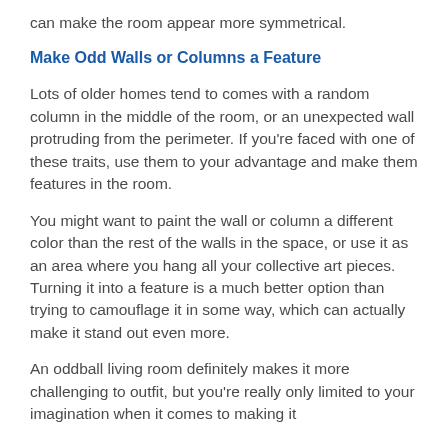can make the room appear more symmetrical.
Make Odd Walls or Columns a Feature
Lots of older homes tend to comes with a random column in the middle of the room, or an unexpected wall protruding from the perimeter. If you're faced with one of these traits, use them to your advantage and make them features in the room.
You might want to paint the wall or column a different color than the rest of the walls in the space, or use it as an area where you hang all your collective art pieces. Turning it into a feature is a much better option than trying to camouflage it in some way, which can actually make it stand out even more.
An oddball living room definitely makes it more challenging to outfit, but you're really only limited to your imagination when it comes to making it